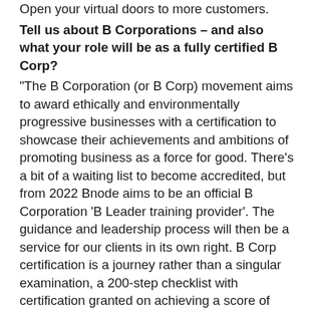Open your virtual doors to more customers.
Tell us about B Corporations – and also what your role will be as a fully certified B Corp?
“The B Corporation (or B Corp) movement aims to award ethically and environmentally progressive businesses with a certification to showcase their achievements and ambitions of promoting business as a force for good. There’s a bit of a waiting list to become accredited, but from 2022 Bnode aims to be an official B Corporation ‘B Leader training provider’. The guidance and leadership process will then be a service for our clients in its own right. B Corp certification is a journey rather than a singular examination, a 200-step checklist with certification granted on achieving a score of 80/200. Bnode will undertake consultancy for its clients, covering all aspects of the B Corp process and assisting them across all B Corp categories.”